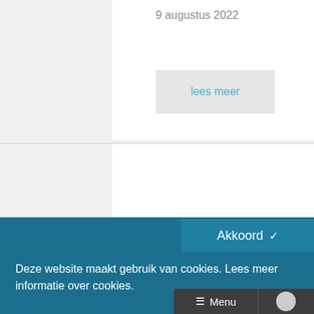9 augustus 2022
lees meer
Akkoord ✓
Deze website maakt gebruik van cookies. Lees meer informatie over cookies.
Menu